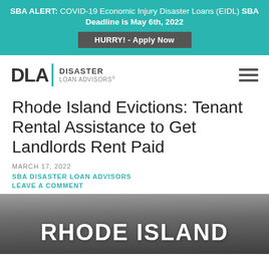SBA ALERT: COVID-19 Economic Injury Disaster Loans (EIDL) SBA Deadline is May 6th, 2022
HURRY! - Apply Now
[Figure (logo): DLA Disaster Loan Advisors logo with teal accent bar]
Rhode Island Evictions: Tenant Rental Assistance to Get Landlords Rent Paid
MARCH 17, 2022
SBA DISASTER LOAN ADVISORS
LEAVE A COMMENT
[Figure (photo): Photo of person writing at a desk with bold white text overlay reading RHODE ISLAND]